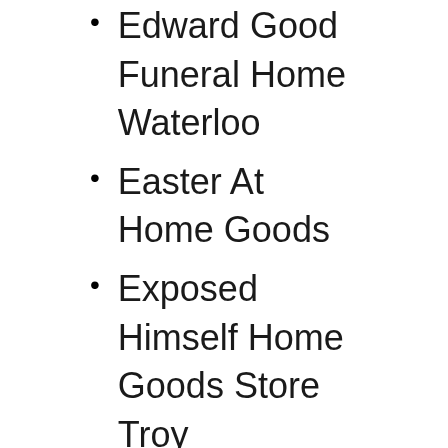Edward Good Funeral Home Waterloo
Easter At Home Goods
Exposed Himself Home Goods Store Troy
Electric Car Home Goods